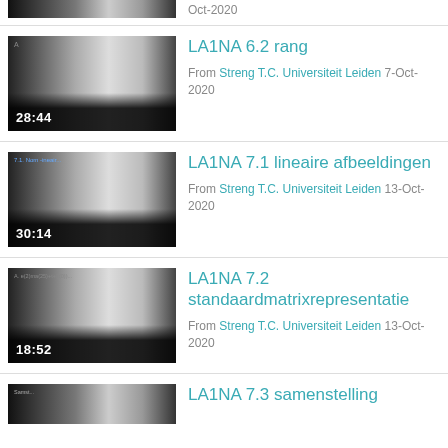[Figure (screenshot): Video thumbnail (partial top) with duration and date Oct-2020]
Oct-2020
[Figure (screenshot): Video thumbnail for LA1NA 6.2 rang, duration 28:44]
LA1NA 6.2 rang
From Streng T.C. Universiteit Leiden 7-Oct-2020
[Figure (screenshot): Video thumbnail for LA1NA 7.1 lineaire afbeeldingen, duration 30:14]
LA1NA 7.1 lineaire afbeeldingen
From Streng T.C. Universiteit Leiden 13-Oct-2020
[Figure (screenshot): Video thumbnail for LA1NA 7.2 standaardmatrixrepresentatie, duration 18:52]
LA1NA 7.2 standaardmatrixrepresentatie
From Streng T.C. Universiteit Leiden 13-Oct-2020
[Figure (screenshot): Video thumbnail for LA1NA 7.3 samenstelling (partial bottom)]
LA1NA 7.3 samenstelling